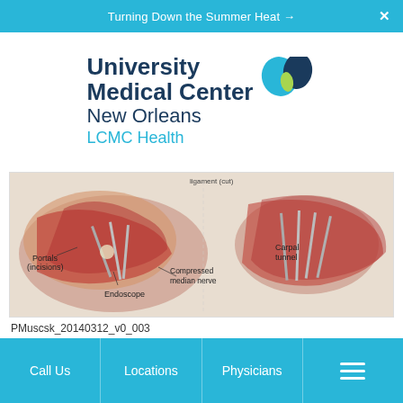Turning Down the Summer Heat →  ×
[Figure (logo): University Medical Center New Orleans LCMC Health logo with teal and dark blue heart icon]
[Figure (illustration): Medical illustration of endoscopic carpal tunnel surgery showing portals (incisions), endoscope, carpal tunnel, compressed median nerve, and ligament (cut)]
PMuscsk_20140312_v0_003
Call Us  |  Locations  |  Physicians  |  ≡